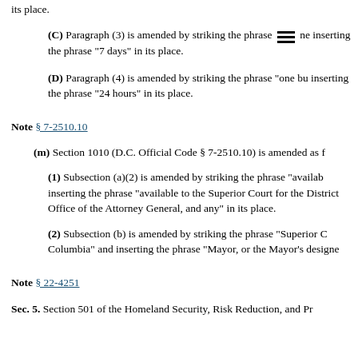its place.
(C) Paragraph (3) is amended by striking the phrase [≡] ne inserting the phrase "7 days" in its place.
(D) Paragraph (4) is amended by striking the phrase "one bu inserting the phrase "24 hours" in its place.
Note § 7-2510.10
(m) Section 1010 (D.C. Official Code § 7-2510.10) is amended as f
(1) Subsection (a)(2) is amended by striking the phrase "availab inserting the phrase "available to the Superior Court for the District Office of the Attorney General, and any" in its place.
(2) Subsection (b) is amended by striking the phrase "Superior C Columbia" and inserting the phrase "Mayor, or the Mayor's designe
Note § 22-4251
Sec. 5. Section 501 of the Homeland Security, Risk Reduction, and Pr